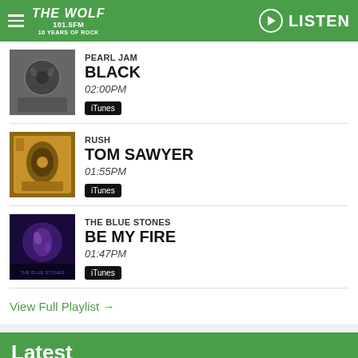THE WOLF 101.5FM 10 YEARS OF ROCK | LISTEN
PEARL JAM - BLACK - 02:00PM - iTunes
RUSH - TOM SAWYER - 01:55PM - iTunes
THE BLUE STONES - BE MY FIRE - 01:47PM - iTunes
View Full Playlist →
Latest
[Figure (screenshot): Bottom image strip with Ad Choices overlay]